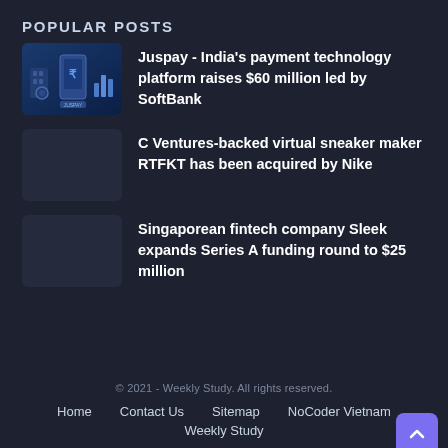POPULAR POSTS
Juspay - India's payment technology platform raises $60 million led by SoftBank
C Ventures-backed virtual sneaker maker RTFKT has been acquired by Nike
Singaporean fintech company Sleek expands Series A funding round to $25 million
© 2021 - Weekly Study. All rights reserved.
Home   Contact Us   Sitemap   NoCoder Vietnam
Weekly Study